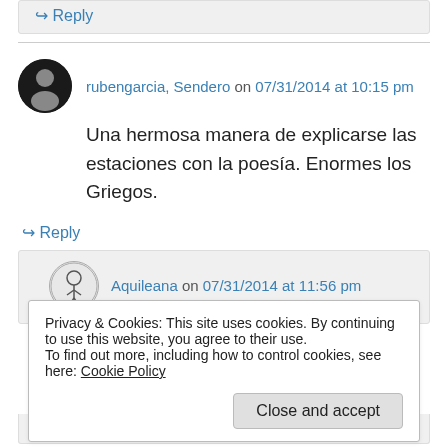↳ Reply
rubengarcia, Sendero on 07/31/2014 at 10:15 pm
Una hermosa manera de explicarse las estaciones con la poesía. Enormes los Griegos.
↳ Reply
Aquileana on 07/31/2014 at 11:56 pm
Privacy & Cookies: This site uses cookies. By continuing to use this website, you agree to their use. To find out more, including how to control cookies, see here: Cookie Policy
Close and accept
↳ Reply